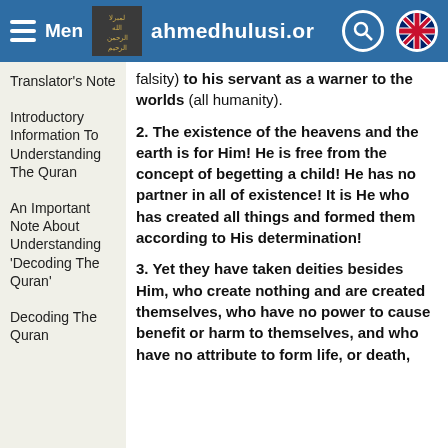Menu | ahmedhulusi.org
Translator's Note
Introductory Information To Understanding The Quran
An Important Note About Understanding 'Decoding The Quran'
Decoding The Quran
falsity) to his servant as a warner to the worlds (all humanity).
2. The existence of the heavens and the earth is for Him! He is free from the concept of begetting a child! He has no partner in all of existence! It is He who has created all things and formed them according to His determination!
3. Yet they have taken deities besides Him, who create nothing and are created themselves, who have no power to cause benefit or harm to themselves, and who have no attribute to form life, or death,